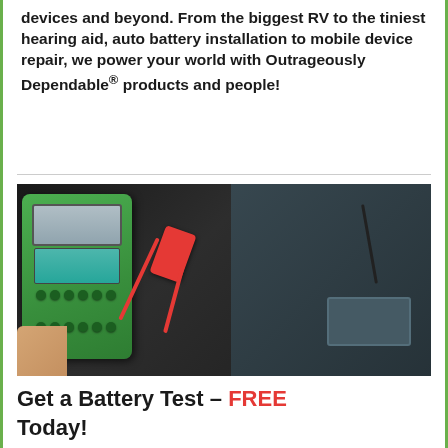devices and beyond. From the biggest RV to the tiniest hearing aid, auto battery installation to mobile device repair, we power your world with Outrageously Dependable® products and people!
[Figure (photo): A hand holding a green battery diagnostic tester device with cables and clamps connected to a car battery/engine]
Get a Battery Test – FREE Today!